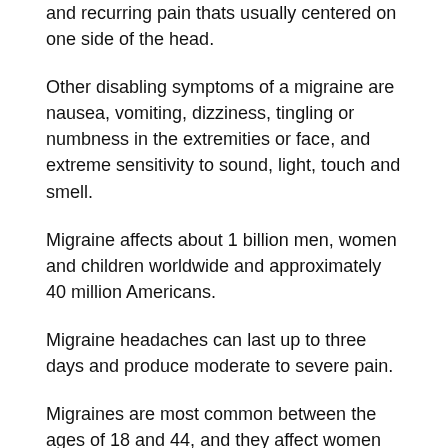and recurring pain thats usually centered on one side of the head.
Other disabling symptoms of a migraine are nausea, vomiting, dizziness, tingling or numbness in the extremities or face, and extreme sensitivity to sound, light, touch and smell.
Migraine affects about 1 billion men, women and children worldwide and approximately 40 million Americans.
Migraine headaches can last up to three days and produce moderate to severe pain.
Migraines are most common between the ages of 18 and 44, and they affect women disproportionately. Eighteen percent of American women suffer from migraines, compared to 6 percent of men and 10 percent of school-age children.